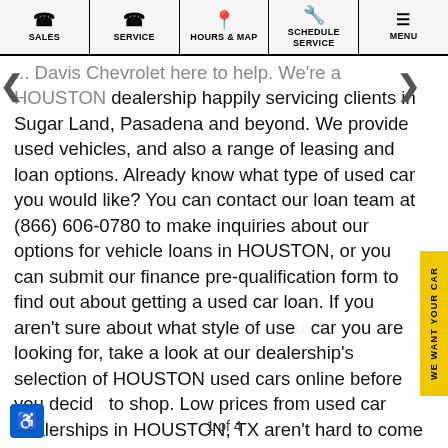SALES | SERVICE | HOURS & MAP | SCHEDULE SERVICE | MENU
... Davis Chevrolet here to help. We're a HOUSTON dealership happily servicing clients in Sugar Land, Pasadena and beyond. We provide used vehicles, and also a range of leasing and loan options. Already know what type of used car you would like? You can contact our loan team at (866) 606-0780 to make inquiries about our options for vehicle loans in HOUSTON, or you can submit our finance pre-qualification form to find out about getting a used car loan. If you aren't sure about what style of used car you are looking for, take a look at our dealership's selection of HOUSTON used cars online before you decide to shop. Low prices from used car dealerships in HOUSTON, TX aren't hard to come by when you choose Davis Chevrolet!
1 of 4